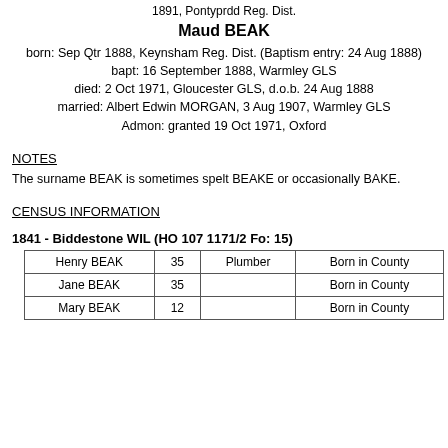1891, Pontyprdd Reg. Dist.
Maud BEAK
born: Sep Qtr 1888, Keynsham Reg. Dist. (Baptism entry: 24 Aug 1888)
bapt: 16 September 1888, Warmley GLS
died: 2 Oct 1971, Gloucester GLS, d.o.b. 24 Aug 1888
married: Albert Edwin MORGAN, 3 Aug 1907, Warmley GLS
Admon: granted 19 Oct 1971, Oxford
NOTES
The surname BEAK is sometimes spelt BEAKE or occasionally BAKE.
CENSUS INFORMATION
1841 - Biddestone WIL (HO 107 1171/2 Fo: 15)
| Name | Age | Occupation | Birthplace |
| --- | --- | --- | --- |
| Henry BEAK | 35 | Plumber | Born in County |
| Jane BEAK | 35 |  | Born in County |
| Mary BEAK | 12 |  | Born in County |